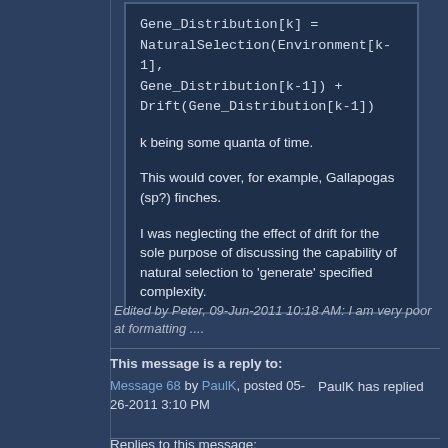Gene_Distribution[k] = NaturalSelection(Environment[k-1], Gene_Distribution[k-1]) + Drift(Gene_Distribution[k-1])
k being some quanta of time.
This would cover, for example, Gallapogas (sp?) finches.
I was neglecting the effect of drift for the sole purpose of discussing the capability of natural selection to 'generate' specified complexity.
Edited by Peter, 09-Jun-2011 10:18 AM: I am very poor at formatting ....
This message is a reply to:
Message 68 by PaulK, posted 05-26-2011 3:10 PM
PaulK has replied
Replies to this message: